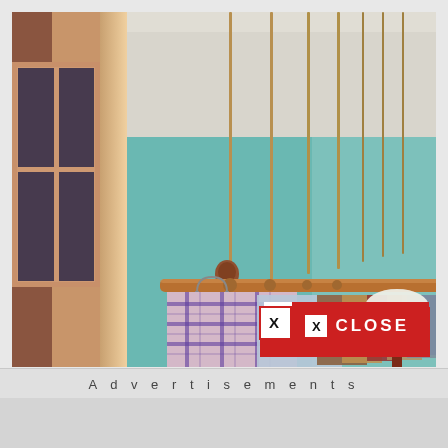[Figure (photo): Interior room photo showing a ceiling-mounted hanging clothes rack with wooden rod suspended by ropes/cords from the ceiling. Shirts hanging on hangers including a prominent plaid shirt. Teal/blue-green walls, a window with dark frame on the left, a door frame. A lamp is visible in the lower right. A red CLOSE button overlay is visible in the lower right of the image.]
Advertisements